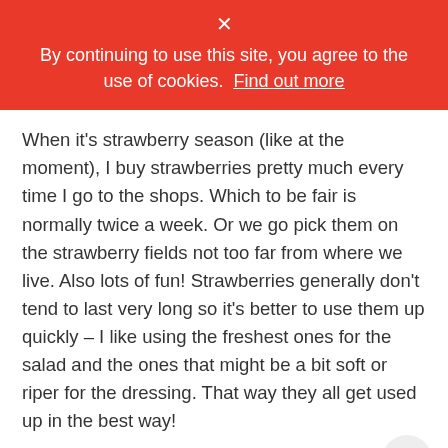× By continuing to use this site, you agree to the use of cookies. Find out more
When it's strawberry season (like at the moment), I buy strawberries pretty much every time I go to the shops. Which to be fair is normally twice a week. Or we go pick them on the strawberry fields not too far from where we live. Also lots of fun! Strawberries generally don't tend to last very long so it's better to use them up quickly – I like using the freshest ones for the salad and the ones that might be a bit soft or riper for the dressing. That way they all get used up in the best way!